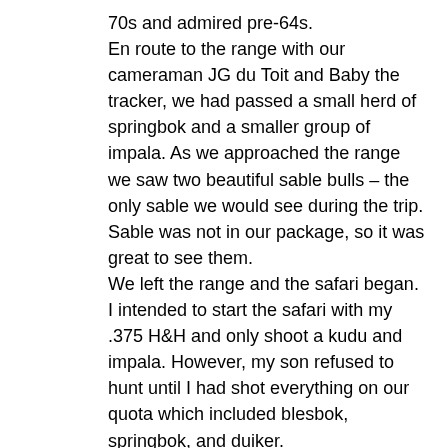70s and admired pre-64s.
En route to the range with our cameraman JG du Toit and Baby the tracker, we had passed a small herd of springbok and a smaller group of impala. As we approached the range we saw two beautiful sable bulls – the only sable we would see during the trip. Sable was not in our package, so it was great to see them.
We left the range and the safari began. I intended to start the safari with my .375 H&H and only shoot a kudu and impala. However, my son refused to hunt until I had shot everything on our quota which included blesbok, springbok, and duiker.
While scouting in the foothills, Dirk spotted a herd of blesbok in the distance, so we drove a short way and then began to stalk for about a mile. We followed a streambed and climbed out, two small ridges before the spot where the blesbok were gathered. Then Dirk stopped and pointed to an area of dense cover about 200yards away down in the streambed to our right. I